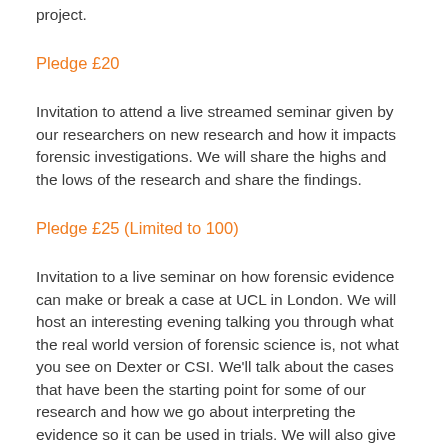project.
Pledge £20
Invitation to attend a live streamed seminar given by our researchers on new research and how it impacts forensic investigations. We will share the highs and the lows of the research and share the findings.
Pledge £25 (Limited to 100)
Invitation to a live seminar on how forensic evidence can make or break a case at UCL in London. We will host an interesting evening talking you through what the real world version of forensic science is, not what you see on Dexter or CSI. We'll talk about the cases that have been the starting point for some of our research and how we go about interpreting the evidence so it can be used in trials. We will also give you an opportunity to